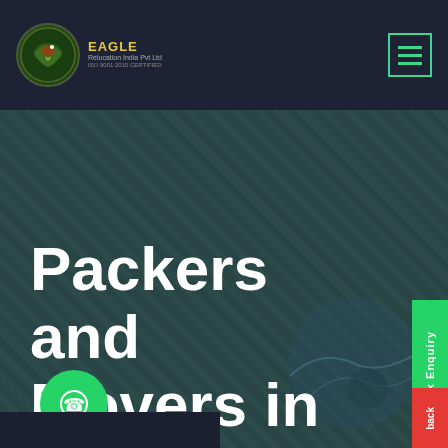[Figure (logo): Eagle Relocation India Pvt Ltd logo with circular eagle emblem and yellow text]
[Figure (other): Green hamburger/menu icon with three horizontal lines and green border]
[Figure (photo): Dark teal textured background resembling water or terrain viewed from above]
Packers and Movers in Pune
[Figure (other): Green WhatsApp circular button]
[Figure (other): Red phone circular button]
[Figure (other): Green up-arrow circular scroll-to-top button]
Quick Enquiry
back